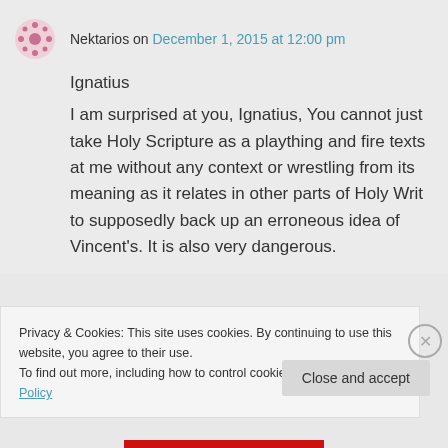Nektarios on December 1, 2015 at 12:00 pm
Ignatius
I am surprised at you, Ignatius, You cannot just take Holy Scripture as a plaything and fire texts at me without any context or wrestling from its meaning as it relates in other parts of Holy Writ to supposedly back up an erroneous idea of Vincent's. It is also very dangerous.
Privacy & Cookies: This site uses cookies. By continuing to use this website, you agree to their use.
To find out more, including how to control cookies, see here: Cookie Policy
Close and accept